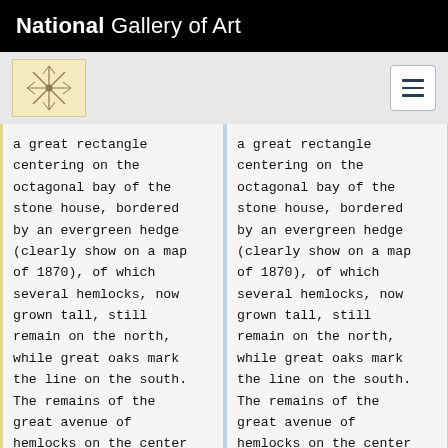National Gallery of Art
[Figure (logo): National Gallery of Art decorative emblem icon on cream background]
a great rectangle centering on the octagonal bay of the stone house, bordered by an evergreen hedge (clearly show on a map of 1870), of which several hemlocks, now grown tall, still remain on the north, while great oaks mark the line on the south. The remains of the great avenue of hemlocks on the center line of the mansion house, which Downing,
a great rectangle centering on the octagonal bay of the stone house, bordered by an evergreen hedge (clearly show on a map of 1870), of which several hemlocks, now grown tall, still remain on the north, while great oaks mark the line on the south. The remains of the great avenue of hemlocks on the center line of the mansion house, which Downing,